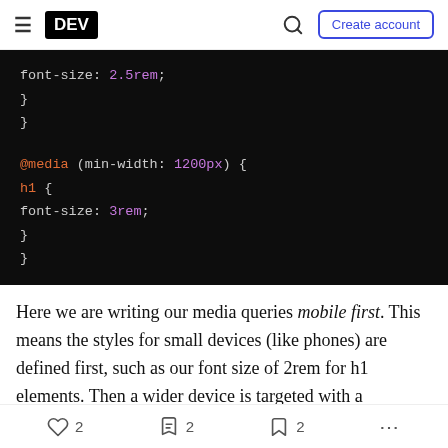DEV | Create account
[Figure (screenshot): Dark-themed code block showing CSS with @media query. Shows: font-size: 2.5rem; closing braces, then @media (min-width: 1200px) { h1 { font-size: 3rem; } }]
Here we are writing our media queries mobile first. This means the styles for small devices (like phones) are defined first, such as our font size of 2rem for h1 elements. Then a wider device is targeted with a
2  2  2  ...